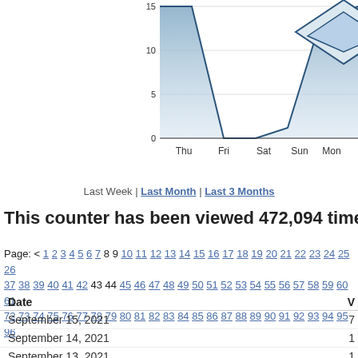[Figure (area-chart): Partial area chart showing web traffic over a week, with y-axis ticks at 0, 5, 10, 15 and x-axis labels Thu, Fri, Sat, Sun, Mon, Tue. Light blue filled area with dark blue outline.]
Last Week | Last Month | Last 3 Months
This counter has been viewed 472,094 times by 2...
Page: < 1 2 3 4 5 6 7 8 9 10 11 12 13 14 15 16 17 18 19 20 21 22 23 24 25 26 37 38 39 40 41 42 43 44 45 46 47 48 49 50 51 52 53 54 55 56 57 58 59 60 61 72 73 74 75 76 77 78 79 80 81 82 83 84 85 86 87 88 89 90 91 92 93 94 95 96
| Date | V |
| --- | --- |
| September 15, 2021 | 7 |
| September 14, 2021 | 1 |
| September 13, 2021 | 1 |
| September 12, 2021 | 1 |
| September 11, 2021 | 1 |
| September 10, 2021 | 6 |
| September 9, 2021 | 1 |
| September 8, 2021 | 6 |
| September 7, 2021 | 1 |
| September 6, 2021 | 1 |
| September 5, 2021 | 7 |